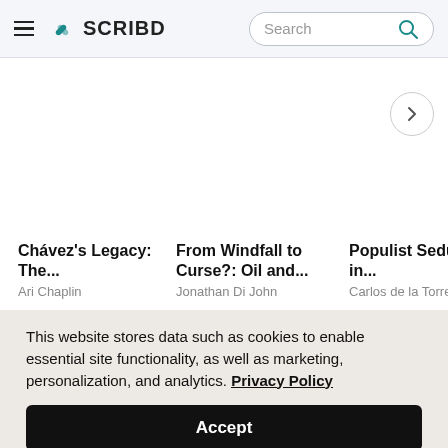SCRIBD — Search bar
[Figure (screenshot): Scribd website header with hamburger menu, Scribd logo, and search bar]
Chávez's Legacy: The...
Ari Chaplin
From Windfall to Curse?: Oil and...
Jonathan Di John
Populist Seduction in...
Carlos de la Torre
Gen... Mira...
Denis...
This website stores data such as cookies to enable essential site functionality, as well as marketing, personalization, and analytics. Privacy Policy
Accept
Deny